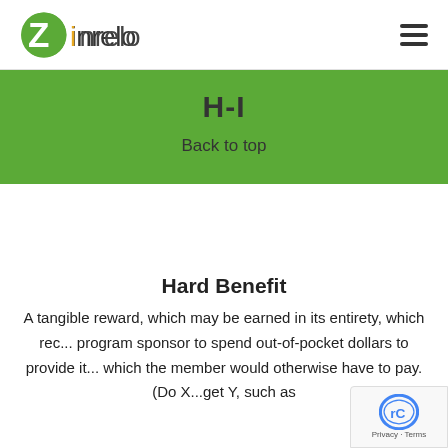zinrelo
H-I
Back to top
Hard Benefit
A tangible reward, which may be earned in its entirety, which rec... program sponsor to spend out-of-pocket dollars to provide it... which the member would otherwise have to pay. (Do X...get Y, such as